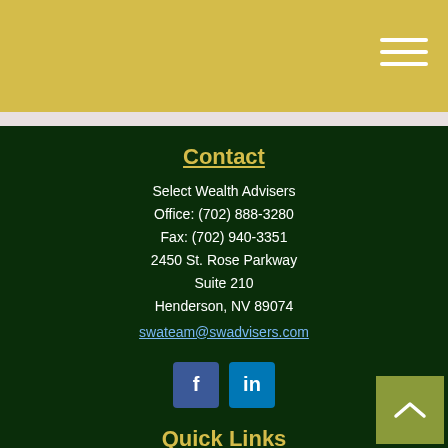[Figure (other): Gold/yellow header bar with hamburger menu icon (three white horizontal lines) in top-right corner]
Contact
Select Wealth Advisers
Office: (702) 888-3280
Fax: (702) 940-3351
2450 St. Rose Parkway
Suite 210
Henderson, NV 89074
swateam@swadvisers.com
[Figure (logo): Facebook and LinkedIn social media icon buttons]
Quick Links
Retirement
Investment
Estate
Insurance